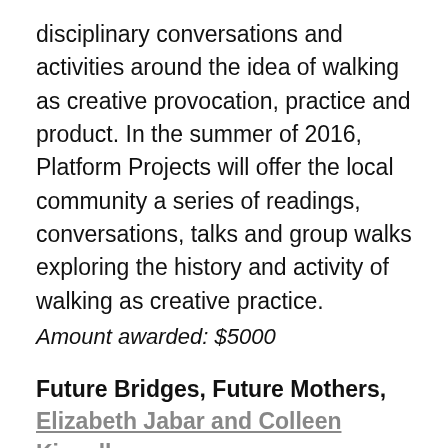disciplinary conversations and activities around the idea of walking as creative provocation, practice and product. In the summer of 2016, Platform Projects will offer the local community a series of readings, conversations, talks and group walks exploring the history and activity of walking as creative practice.
Amount awarded: $5000
Future Bridges, Future Mothers, Elizabeth Jabar and Colleen Kinsella
The Future Bridges project includes a mobile